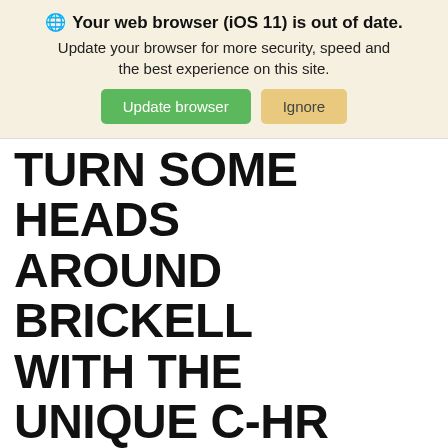🌐 Your web browser (iOS 11) is out of date. Update your browser for more security, speed and the best experience on this site. [Update browser] [Ignore]
TURN SOME HEADS AROUND BRICKELL WITH THE UNIQUE C-HR
Kendall Toyota has an extensive collection of pre-owned vehicles including the Toyota C-HR. If you're a car shopper looking for a compact SUV with attitude, the pre-owned C-HR is your perfect fit. You will stand out in the crowd with the C-HR's striking exterior complete with a modern color palette. The unique design doesn't stop there, it continues in the interior with a fun and modern look with diamond-shaped accents complete with blue details. However, the C-HR isn't all about looks. It comes packed with technology and extra features to make your drive much more enjoyable. Browse our large inventory of pre-owned C-HR vehicles and find the one that's right for you. Our sales team will help you every step of the way. Call